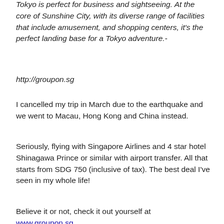Tokyo is perfect for business and sightseeing. At the core of Sunshine City, with its diverse range of facilities that include amusement, and shopping centers, it's the perfect landing base for a Tokyo adventure.-
http://groupon.sg
I cancelled my trip in March due to the earthquake and we went to Macau, Hong Kong and China instead.
Seriously, flying with Singapore Airlines and 4 star hotel Shinagawa Prince or similar with airport transfer. All that starts from SDG 750 (inclusive of tax). The best deal I've seen in my whole life!
Believe it or not, check it out yourself at www.groupon.sg
[Figure (other): Empty image placeholder box]